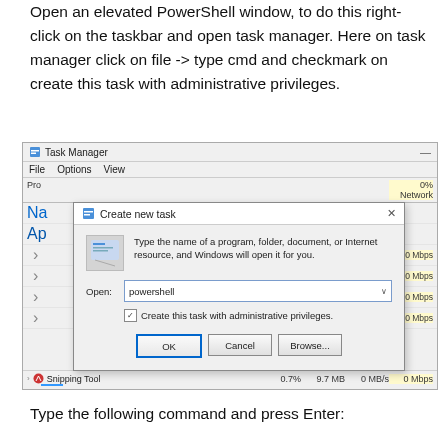Open an elevated PowerShell window, to do this right-click on the taskbar and open task manager. Here on task manager click on file -> type cmd and checkmark on create this task with administrative privileges.
[Figure (screenshot): Windows Task Manager screenshot showing a 'Create new task' dialog box with 'powershell' typed in the Open field and 'Create this task with administrative privileges' checkbox checked. OK, Cancel, and Browse buttons are visible at the bottom of the dialog.]
Type the following command and press Enter: